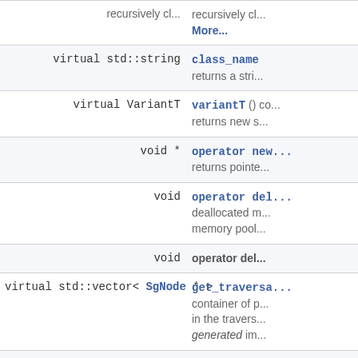| Return Type | Member Function |
| --- | --- |
|  | recursively cl...
More... |
| virtual std::string | class_name
returns a stri... |
| virtual VariantT | variantT () co...
returns new s... |
| void * | operator new...
returns pointe... |
| void | operator del...
deallocated m...
memory pool... |
| void | operator del... |
| virtual std::vector< SgNode * > | get_traversa...
container of p...
in the travers...
generated im... |
| virtual std::vector< std::string > | get_traversa...
container of n...
used used in... |